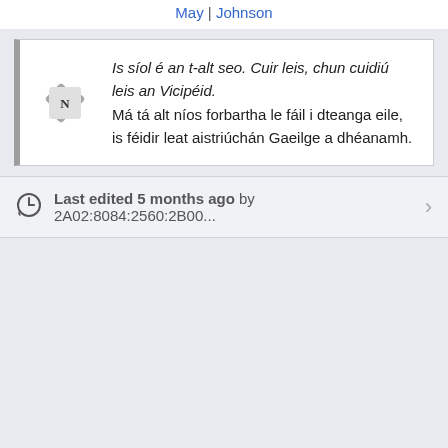May | Johnson
Is síol é an t-alt seo. Cuir leis, chun cuidiú leis an Vicipéid.
Má tá alt níos forbartha le fáil i dteanga eile, is féidir leat aistriúchán Gaeilge a dhéanamh.
Last edited 5 months ago by 2A02:8084:2560:2B00...